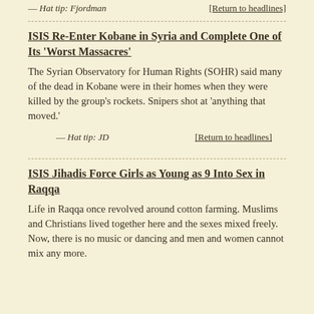— Hat tip: Fjordman   [Return to headlines]
ISIS Re-Enter Kobane in Syria and Complete One of Its ‘Worst Massacres’
The Syrian Observatory for Human Rights (SOHR) said many of the dead in Kobane were in their homes when they were killed by the group’s rockets. Snipers shot at ‘anything that moved.’
— Hat tip: JD   [Return to headlines]
ISIS Jihadis Force Girls as Young as 9 Into Sex in Raqqa
Life in Raqqa once revolved around cotton farming. Muslims and Christians lived together here and the sexes mixed freely. Now, there is no music or dancing and men and women cannot mix any more.